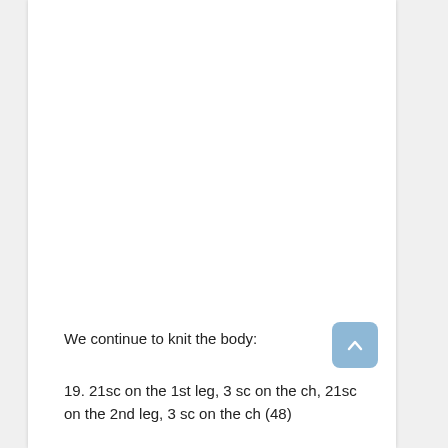We continue to knit the body:
19. 21sc on the 1st leg, 3 sc on the ch, 21sc on the 2nd leg, 3 sc on the ch (48)